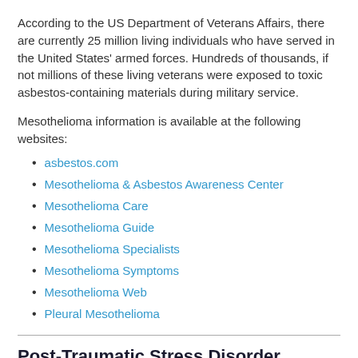According to the US Department of Veterans Affairs, there are currently 25 million living individuals who have served in the United States' armed forces. Hundreds of thousands, if not millions of these living veterans were exposed to toxic asbestos-containing materials during military service.
Mesothelioma information is available at the following websites:
asbestos.com
Mesothelioma & Asbestos Awareness Center
Mesothelioma Care
Mesothelioma Guide
Mesothelioma Specialists
Mesothelioma Symptoms
Mesothelioma Web
Pleural Mesothelioma
Post-Traumatic Stress Disorder (PTSD)
PTSD Alliance: provides educational resources for